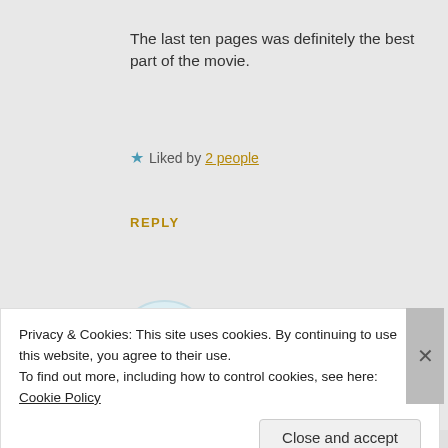The last ten pages was definitely the best part of the movie.
★ Liked by 2 people
REPLY
[Figure (illustration): Circular avatar with cartoon crab/bug character on light blue-green background]
South of the Strait
AUGUST 29, 2016 AT 1:09 PM
Privacy & Cookies: This site uses cookies. By continuing to use this website, you agree to their use.
To find out more, including how to control cookies, see here: Cookie Policy
Close and accept